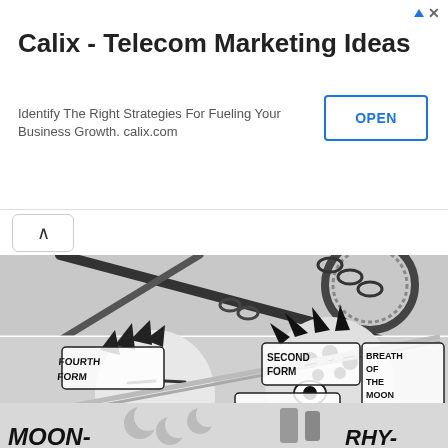[Figure (other): Advertisement banner: Calix - Telecom Marketing Ideas. Identify The Right Strategies For Fueling Your Business Growth. calix.com. OPEN button. Ad icon and close (x) button in top right.]
[Figure (illustration): Manga/anime comic pages showing action scenes. Top panel: crossed chains and circular ring patterns in black and white. Middle panel: two characters fighting with text bubbles reading 'FOURTH FORM', 'BREATH OF ROCK', 'SECOND FORM', 'BREATH OF THE MOON'. Bottom panel: decorative moon patterns with text 'MOON-' on left and 'RHY- CHTE' on right.]